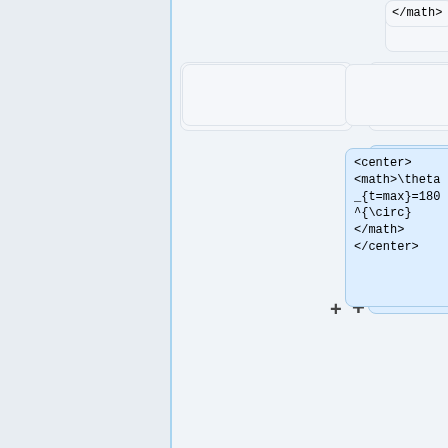</math>
<center>
<math>\theta_{t=max}=180^{\circ}
</math>
</center>
<center>
<math>\cos{\theta} = 3</math>
</center>
However, from the definition